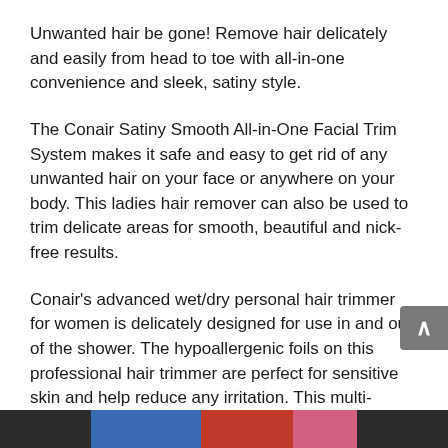Unwanted hair be gone! Remove hair delicately and easily from head to toe with all-in-one convenience and sleek, satiny style.
The Conair Satiny Smooth All-in-One Facial Trim System makes it safe and easy to get rid of any unwanted hair on your face or anywhere on your body. This ladies hair remover can also be used to trim delicate areas for smooth, beautiful and nick-free results.
Conair's advanced wet/dry personal hair trimmer for women is delicately designed for use in and out of the shower. The hypoallergenic foils on this professional hair trimmer are perfect for sensitive skin and help reduce any irritation. This multi-purpose ladies trimmer has a 5 versatile attachments